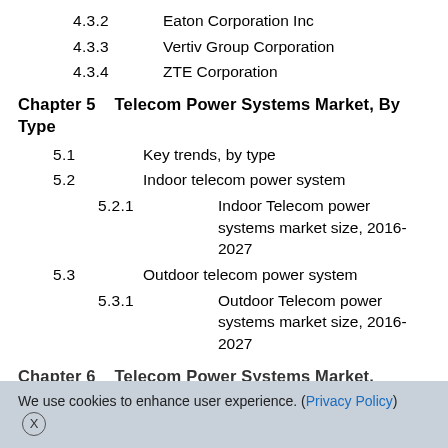4.3.2    Eaton Corporation Inc
4.3.3    Vertiv Group Corporation
4.3.4    ZTE Corporation
Chapter 5    Telecom Power Systems Market, By Type
5.1    Key trends, by type
5.2    Indoor telecom power system
5.2.1        Indoor Telecom power systems market size, 2016-2027
5.3    Outdoor telecom power system
5.3.1            Outdoor Telecom power systems market size, 2016-2027
Chapter 6    Telecom Power Systems Market,
We use cookies to enhance user experience. (Privacy Policy)  X